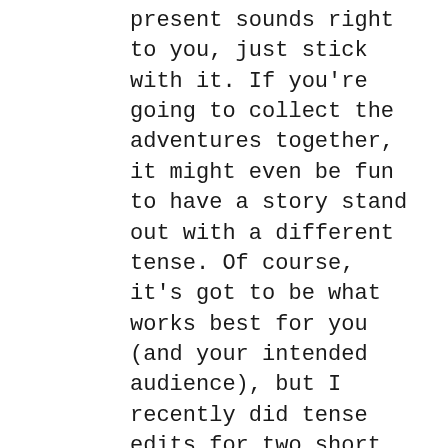present sounds right to you, just stick with it. If you're going to collect the adventures together, it might even be fun to have a story stand out with a different tense. Of course, it's got to be what works best for you (and your intended audience), but I recently did tense edits for two short stories (about 5K words a piece), and what a pain in the behind!
Personally, I'd love to hear more about Meghan's publishing adventure, too, when you decide to get around to it. Self-publishing is becoming more